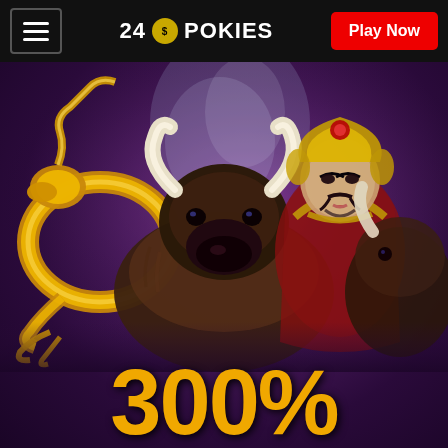24 POKIES — Play Now
[Figure (illustration): Casino promotional banner with gold dragon on left, large buffalo/bison in center, Chinese deity figure in background center-right, second bison on far right, against dark purple background. Large gold '300%' text at bottom.]
300%